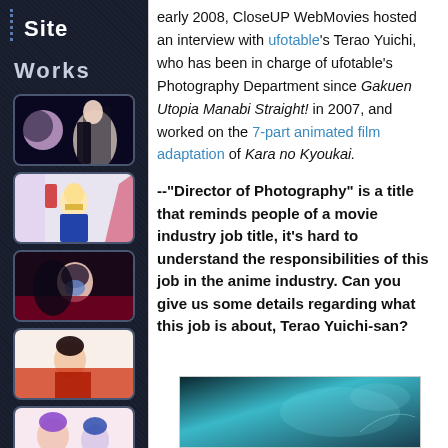Site
Works
[Figure (illustration): Anime thumbnail 1: dark-haired girl with moon]
[Figure (illustration): Anime thumbnail 2: blonde girl in armor]
[Figure (illustration): Anime thumbnail 3: blue-eyed girl]
[Figure (illustration): Anime thumbnail 4: dark-haired girl with red cloth]
[Figure (illustration): Anime thumbnail 5: purple-haired girl and blue-haired boy]
early 2008, CloseUP WebMovies hosted an interview with ufotable's Terao Yuichi, who has been in charge of ufotable's Photography Department since Gakuen Utopia Manabi Straight! in 2007, and worked on the 7-part animated film adaptation of Kara no Kyoukai.
--"Director of Photography" is a title that reminds people of a movie industry job title, it's hard to understand the responsibilities of this job in the anime industry. Can you give us some details regarding what this job is about, Terao Yuichi-san?
[Figure (screenshot): Teal/dark cinematic still from Kara no Kyoukai]